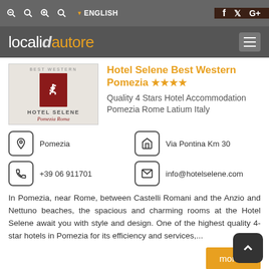localidautore — ENGLISH — f, Twitter, G+
Hotel Selene Best Western Pomezia ★★★★
[Figure (logo): Hotel Selene logo with red rectangle, stylized S icon, and cursive text 'Hotel Selene Pomezia Roma']
Quality 4 Stars Hotel Accommodation Pomezia Rome Latium Italy
Pomezia
Via Pontina Km 30
+39 06 911701
info@hotelselene.com
In Pomezia, near Rome, between Castelli Romani and the Anzio and Nettuno beaches, the spacious and charming rooms at the Hotel Selene await you with style and design. One of the highest quality 4-star hotels in Pomezia for its efficiency and services,...
more »
Hotel Villa Romana Miner... ★★★★